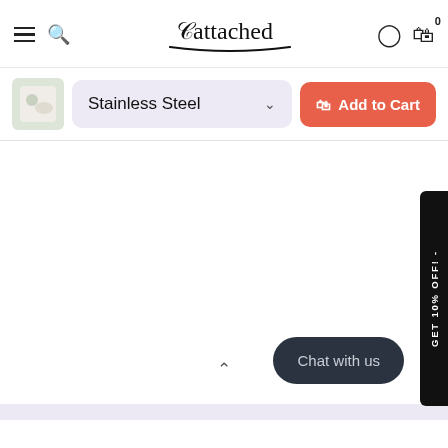Cattached — navigation header with hamburger menu, search icon, logo, account icon, and cart (0)
Stainless Steel
Add to Cart
[Figure (screenshot): Empty white content area with a black vertical side tab reading 'GET 10% OFF! -', a dark rounded 'Chat with us' button at bottom right, and an upward chevron arrow in the center bottom.]